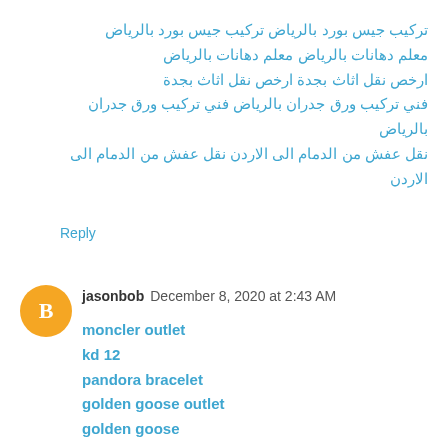تركيب جيس بورد بالرياض تركيب جيس بورد بالرياض
معلم دهانات بالرياض معلم دهانات بالرياض
ارخص نقل اثاث بجدة ارخص نقل اثاث بجدة
فني تركيب ورق جدران بالرياض فني تركيب ورق جدران بالرياض
نقل عفش من الدمام الى الاردن نقل عفش من الدمام الى الاردن
Reply
jasonbob  December 8, 2020 at 2:43 AM
moncler outlet
kd 12
pandora bracelet
golden goose outlet
golden goose
off white nike
kobe 9
pg 1
off white jordan 1
jordan shoes